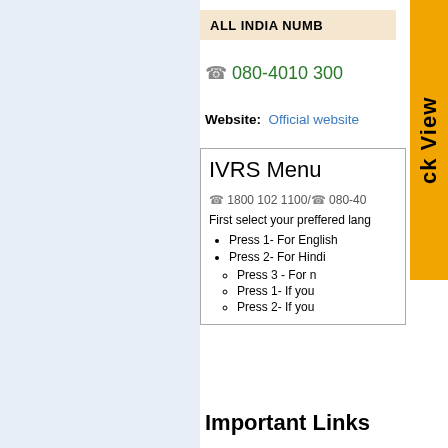ALL INDIA NUMB
☎ 080-4010 300
Website: Official website
IVRS Menu
☎ 1800 102 1100/☎ 080-40
First select your preffered lang
Press 1- For English
Press 2- For Hindi
Press 3 - For n
Press 1- If you
Press 2- If you
Important Links